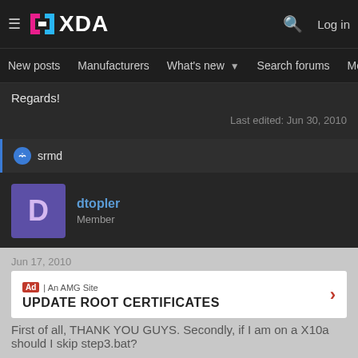XDA — New posts | Manufacturers | What's new | Search forums | Members
Regards!
Last edited: Jun 30, 2010
srmd
dtopler
Member
Jun 17, 2010
UPDATE ROOT CERTIFICATES
First of all, THANK YOU GUYS. Secondly, if I am on a X10a should I skip step3.bat?
Ad | An AMG Site